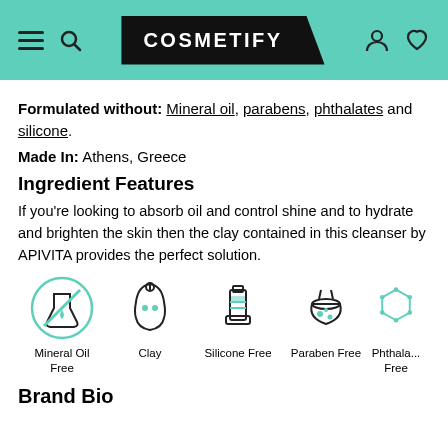COSMETIFY
Formulated without: Mineral oil, parabens, phthalates and silicone.
Made In: Athens, Greece
Ingredient Features
If you're looking to absorb oil and control shine and to hydrate and brighten the skin then the clay contained in this cleanser by APIVITA provides the perfect solution.
[Figure (infographic): Five ingredient icons: Mineral Oil Free, Clay, Silicone Free, Paraben Free, Phthalate Free]
Brand Bio